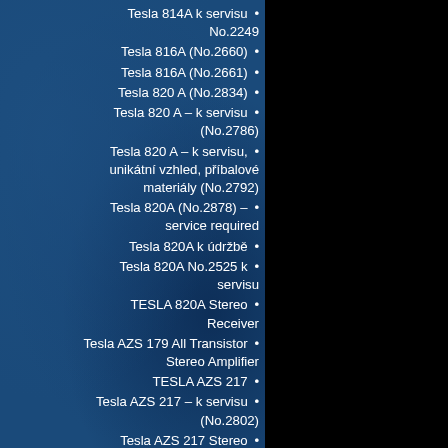Tesla 814A k servisu • No.2249
Tesla 816A (No.2660) •
Tesla 816A (No.2661) •
Tesla 820 A (No.2834) •
Tesla 820 A – k servisu • (No.2786)
Tesla 820 A – k servisu, • unikátní vzhled, příbalové materiály (No.2792)
Tesla 820A (No.2878) – • service required
Tesla 820A k údržbě •
Tesla 820A No.2525 k • servisu
TESLA 820A Stereo • Receiver
Tesla AZS 179 All Transistor • Stereo Amplifier
TESLA AZS 217 •
Tesla AZS 217 – k servisu • (No.2802)
Tesla AZS 217 Stereo • Amplifier 1977
Tesla AZS 218 •